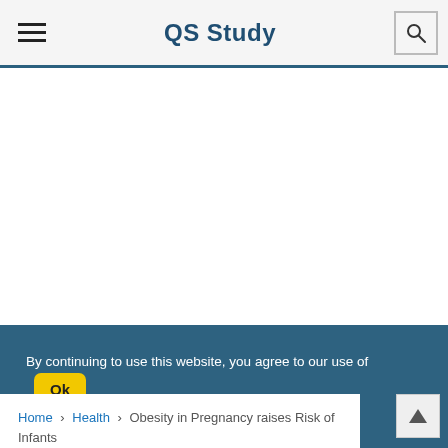QS Study
By continuing to use this website, you agree to our use of Cookies
Home › Health › Obesity in Pregnancy raises Risk of Infants developing Lifelong Cardiovascular Disease